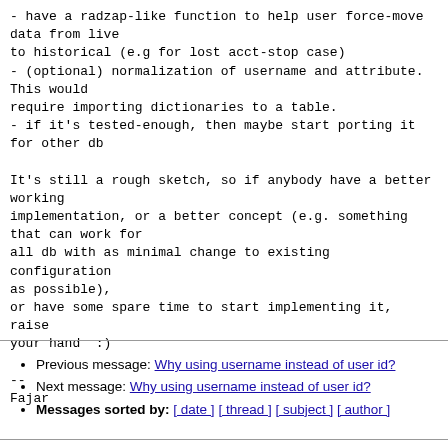- have a radzap-like function to help user force-move data from live
to historical (e.g for lost acct-stop case)
- (optional) normalization of username and attribute. This would
require importing dictionaries to a table.
- if it's tested-enough, then maybe start porting it for other db

It's still a rough sketch, so if anybody have a better working
implementation, or a better concept (e.g. something that can work for
all db with as minimal change to existing configuration as possible),
or have some spare time to start implementing it, raise your hand  :)

--
Fajar
Previous message: Why using username instead of user id?
Next message: Why using username instead of user id?
Messages sorted by: [ date ] [ thread ] [ subject ] [ author ]